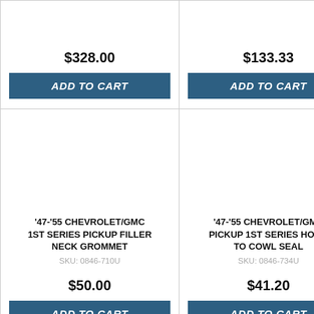$328.00
ADD TO CART
$133.33
ADD TO CART
'47-'55 CHEVROLET/GMC 1ST SERIES PICKUP FILLER NECK GROMMET
SKU: 0846-710U
$50.00
ADD TO CART
'47-'55 CHEVROLET/GMC PICKUP 1ST SERIES HOOD TO COWL SEAL
SKU: 0846-734U
$41.20
ADD TO CART